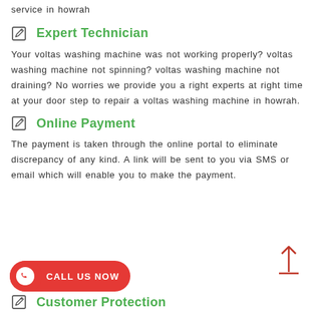service in howrah
Expert Technician
Your voltas washing machine was not working properly? voltas washing machine not spinning? voltas washing machine not draining? No worries we provide you a right experts at right time at your door step to repair a voltas washing machine in howrah.
Online Payment
The payment is taken through the online portal to eliminate discrepancy of any kind. A link will be sent to you via SMS or email which will enable you to make the payment.
[Figure (other): Red call-to-action button with phone icon and text CALL US NOW]
Customer Protection